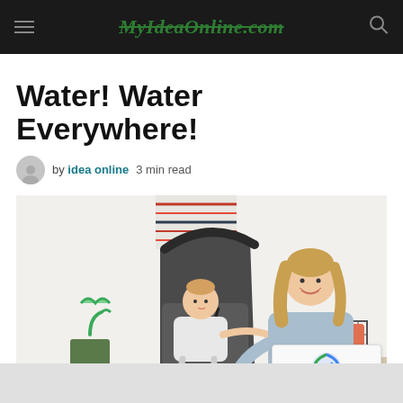MyIdeaOnline.com
Water! Water Everywhere!
by idea online  3 min read
[Figure (photo): A smiling woman in a light blue sweater interacting with a baby seated in a dark gray baby stroller/pram. In the background there is a striped cloth, a green metal bucket with a green umbrella, and a wire basket with orange cushions on a shelf.]